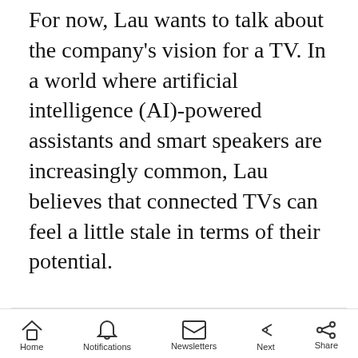For now, Lau wants to talk about the company's vision for a TV. In a world where artificial intelligence (AI)-powered assistants and smart speakers are increasingly common, Lau believes that connected TVs can feel a little stale in terms of their potential.
[Figure (other): Advertisement placeholder box with label 'Advertisement' at top and a U.S. Department of State ad banner at the bottom reading 'Renew your Passport' with a 'LEARN MORE' button]
Home  Notifications  Newsletters  Next  Share